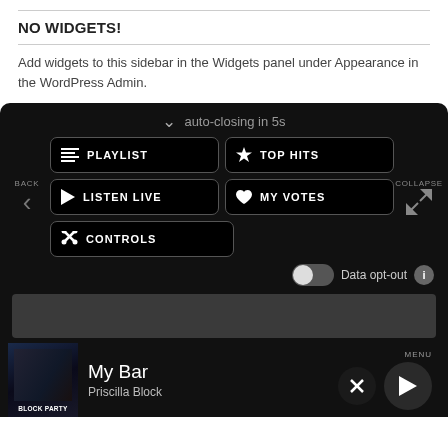NO WIDGETS!
Add widgets to this sidebar in the Widgets panel under Appearance in the WordPress Admin.
[Figure (screenshot): Dark UI overlay showing navigation menu with auto-closing countdown, BACK button, COLLAPSE button, and navigation buttons: PLAYLIST, TOP HITS, LISTEN LIVE, MY VOTES, CONTROLS. Data opt-out toggle at bottom. Gray bar below. Media player at bottom showing 'My Bar' by Priscilla Block with MENU label, X and play controls, and Block Party album art.]